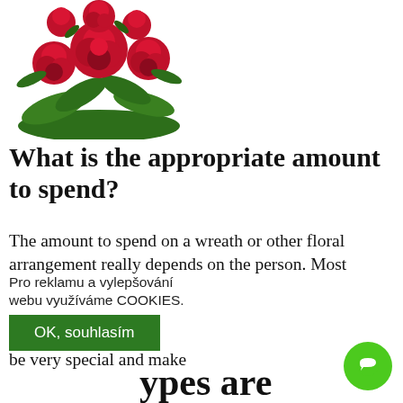[Figure (photo): Floral arrangement with red roses and green foliage, partially visible in top-left corner]
What is the appropriate amount to spend?
The amount to spend on a wreath or other floral arrangement really depends on the person. Most florists are willing to accommodate any budget. Often groups or friends, organisations or work colleagues will club together and get one large can be very special and make
Pro reklamu a vylepšování webu využíváme COOKIES.
OK, souhlasím
ypes are